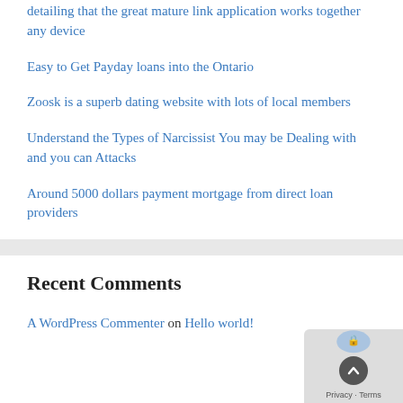detailing that the great mature link application works together any device
Easy to Get Payday loans into the Ontario
Zoosk is a superb dating website with lots of local members
Understand the Types of Narcissist You may be Dealing with and you can Attacks
Around 5000 dollars payment mortgage from direct loan providers
Recent Comments
A WordPress Commenter on Hello world!